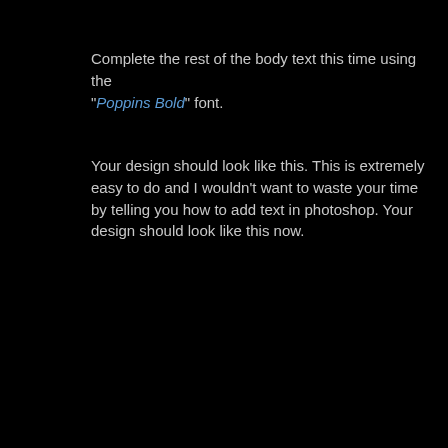Complete the rest of the body text this time using the "Poppins Bold" font.
Your design should look like this. This is extremely easy to do and I wouldn't want to waste your time by telling you how to add text in photoshop. Your design should look like this now.